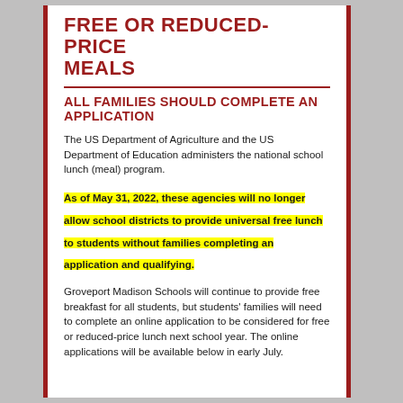FREE OR REDUCED-PRICE MEALS
ALL FAMILIES SHOULD COMPLETE AN APPLICATION
The US Department of Agriculture and the US Department of Education administers the national school lunch (meal) program.
As of May 31, 2022, these agencies will no longer allow school districts to provide universal free lunch to students without families completing an application and qualifying.
Groveport Madison Schools will continue to provide free breakfast for all students, but students' families will need to complete an online application to be considered for free or reduced-price lunch next school year. The online applications will be available below in early July.